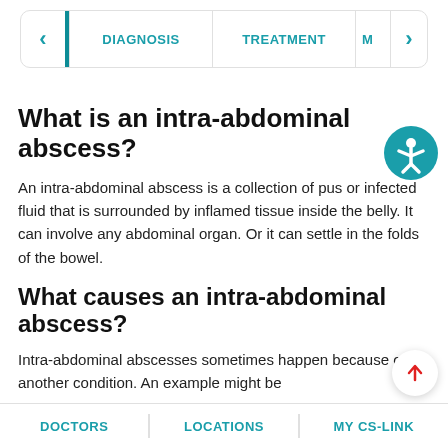< | DIAGNOSIS | TREATMENT | M >
What is an intra-abdominal abscess?
An intra-abdominal abscess is a collection of pus or infected fluid that is surrounded by inflamed tissue inside the belly. It can involve any abdominal organ. Or it can settle in the folds of the bowel.
What causes an intra-abdominal abscess?
Intra-abdominal abscesses sometimes happen because of another condition. An example might be
DOCTORS | LOCATIONS | MY CS-LINK